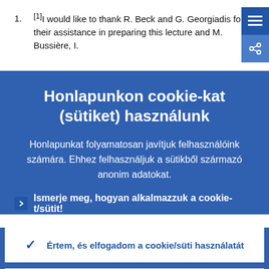[1]I would like to thank R. Beck and G. Georgiadis for their assistance in preparing this lecture and M. Bussière, I.
Honlapunkon cookie-kat (sütiket) használunk
Honlapunkat folyamatosan javítjuk felhasználóink számára. Ehhez felhasználjuk a sütikből származó anonim adatokat.
Ismerje meg, hogyan alkalmazzuk a cookie-t/sütit!
Értem, és elfogadom a cookie/süti használatát
Visszautasítom a cookie/süti használatát